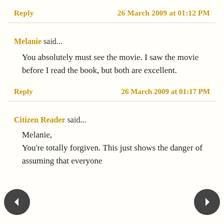Reply   26 March 2009 at 01:12 PM
Melanie said...
You absolutely must see the movie. I saw the movie before I read the book, but both are excellent.
Reply   26 March 2009 at 01:17 PM
Citizen Reader said...
Melanie,
You're totally forgiven. This just shows the danger of assuming that everyone